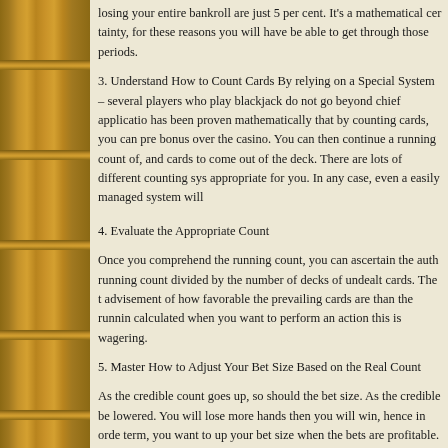losing your entire bankroll are just 5 per cent. It's a mathematical certainty, for these reasons you will have be able to get through those periods.
3. Understand How to Count Cards By relying on a Special System – several players who play blackjack do not go beyond chief application. It has been proven mathematically that by counting cards, you can pre bonus over the casino. You can then continue a running count of, and cards to come out of the deck. There are lots of different counting systems appropriate for you. In any case, even a easily managed system will
4. Evaluate the Appropriate Count
Once you comprehend the running count, you can ascertain the true running count divided by the number of decks of undealt cards. The advisement of how favorable the prevailing cards are than the running calculated when you want to perform an action this is wagering.
5. Master How to Adjust Your Bet Size Based on the Real Count
As the credible count goes up, so should the bet size. As the credible be lowered. You will lose more hands then you will win, hence in order term, you want to up your bet size when the bets are profitable. This blackjack.